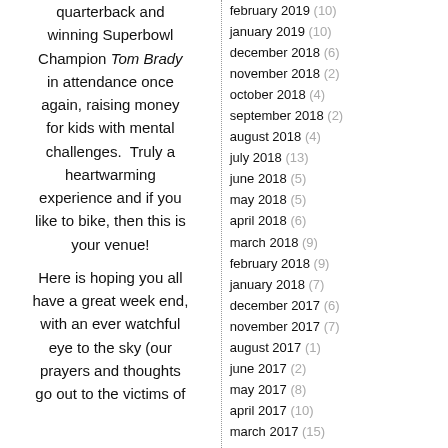quarterback and winning Superbowl Champion Tom Brady in attendance once again, raising money for kids with mental challenges. Truly a heartwarming experience and if you like to bike, then this is your venue!

Here is hoping you all have a great week end, with an ever watchful eye to the sky (our prayers and thoughts go out to the victims of
february 2019 (10)
january 2019 (10)
december 2018 (6)
november 2018 (2)
october 2018 (4)
september 2018 (2)
august 2018 (4)
july 2018 (13)
june 2018 (5)
may 2018 (5)
april 2018 (6)
march 2018 (9)
february 2018 (9)
january 2018 (7)
december 2017 (6)
november 2017 (7)
august 2017 (1)
june 2017 (2)
may 2017 (8)
april 2017 (10)
march 2017 (15)
february 2017 (14)
january 2017 (8)
december 2016 (6)
november 2016 (13)
october 2016 (17)
september 2016 (13)
august 2016 (14)
july 2016 (7)
june 2016 (16)
may 2016 (18)
april 2016 (21)